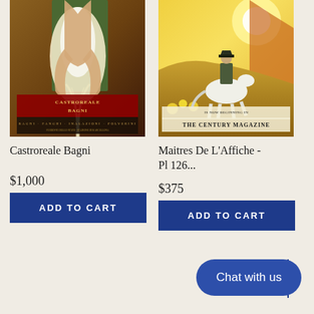[Figure (illustration): Vintage Italian travel poster for Castroreale Bagni showing a figure with flowing water or light]
[Figure (illustration): Vintage poster for The Century Magazine showing Napoleon on horseback, titled Maitres De L'Affiche Pl 126]
Castroreale Bagni
Maitres De L'Affiche - Pl 126...
$1,000
$375
ADD TO CART
ADD TO CART
Chat with us